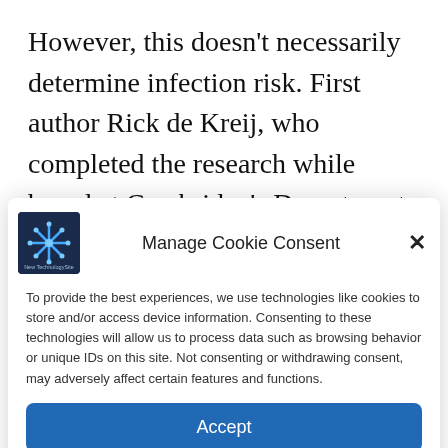However, this doesn't necessarily determine infection risk. First author Rick de Kreij, who completed the research while based at Cambridge's Department of Applied Mathematics and Theoretical Physics, said: “If an infectious person is in the middle of the carriage, then
Manage Cookie Consent
To provide the best experiences, we use technologies like cookies to store and/or access device information. Consenting to these technologies will allow us to process data such as browsing behavior or unique IDs on this site. Not consenting or withdrawing consent, may adversely affect certain features and functions.
Accept